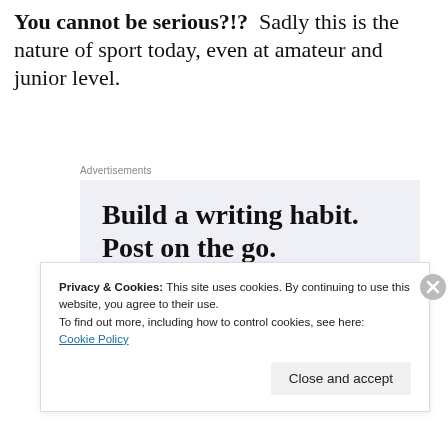You cannot be serious?!?  Sadly this is the nature of sport today, even at amateur and junior level.
Advertisements
[Figure (other): Advertisement for WordPress app: 'Build a writing habit. Post on the go.' with GET THE APP call-to-action and WordPress logo]
Privacy & Cookies: This site uses cookies. By continuing to use this website, you agree to their use.
To find out more, including how to control cookies, see here:
Cookie Policy
Close and accept